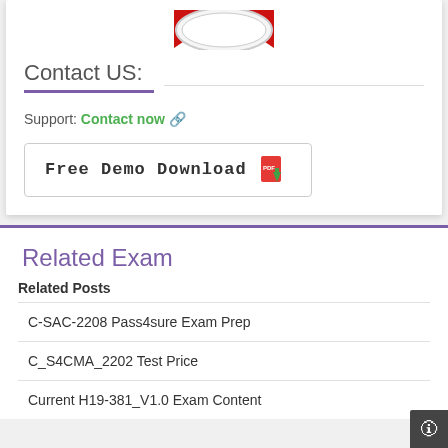[Figure (illustration): Badge/seal graphic with red ribbon at top]
Contact US:
Support: Contact now 🔗
[Figure (illustration): Free Demo Download button with PDF icon]
Related Exam
Related Posts
C-SAC-2208 Pass4sure Exam Prep
C_S4CMA_2202 Test Price
Current H19-381_V1.0 Exam Content